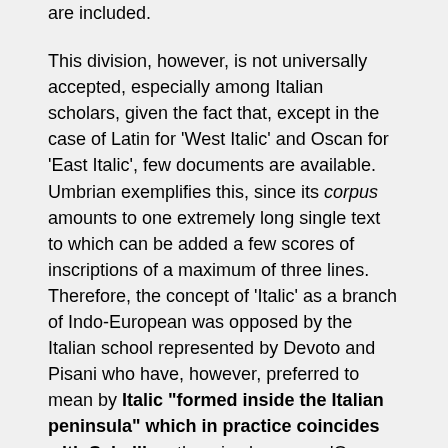are included.
This division, however, is not universally accepted, especially among Italian scholars, given the fact that, except in the case of Latin for 'West Italic' and Oscan for 'East Italic', few documents are available. Umbrian exemplifies this, since its corpus amounts to one extremely long single text to which can be added a few scores of inscriptions of a maximum of three lines. Therefore, the concept of 'Italic' as a branch of Indo-European was opposed by the Italian school represented by Devoto and Pisani who have, however, preferred to mean by Italic "formed inside the Italian peninsula" which in practice coincides with Sabellic, otherwise known as 'Osco-Umbrian' for the linguistic affinities that appear to bind together minor languages such as Sabellic, Paelignian, Marrucinian, etc., to the two principal languages that